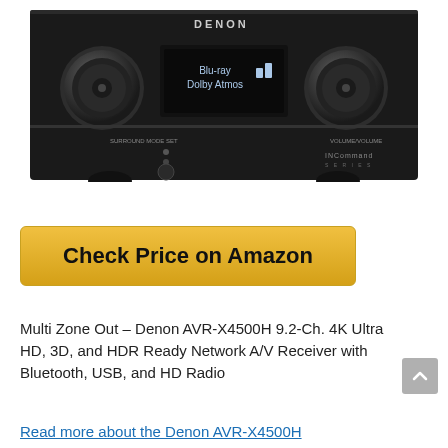[Figure (photo): Denon AVR-X4500H AV receiver front panel in black, showing display screen with 'Blu-ray Dolby Atmos' text, two large control knobs, INCommand Series branding]
Check Price on Amazon
Multi Zone Out – Denon AVR-X4500H 9.2-Ch. 4K Ultra HD, 3D, and HDR Ready Network A/V Receiver with Bluetooth, USB, and HD Radio
Read more about the Denon AVR-X4500H